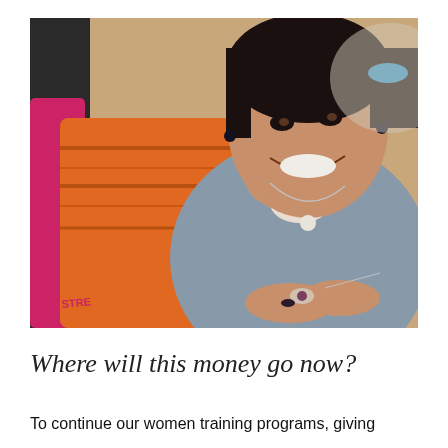[Figure (photo): A smiling woman wearing a gray sweater and a necklace with a pearl pendant, holding a small object in her hands. In the background, another person in an orange and pink striped garment is visible. The setting appears to be a training or craft workshop.]
Where will this money go now?
To continue our women training programs, giving